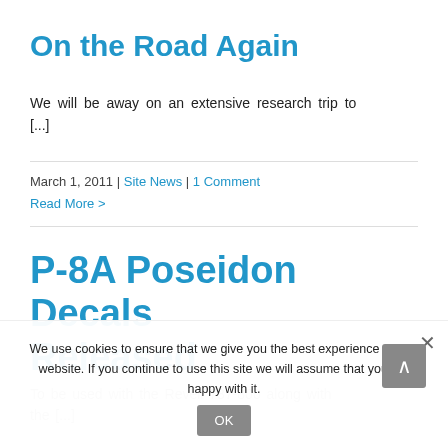On the Road Again
We will be away on an extensive research trip to [...]
March 1, 2011 | Site News | 1 Comment
Read More >
P-8A Poseidon Decals Released
To be used with the Revell 737-800 along with the [...]
We use cookies to ensure that we give you the best experience on our website. If you continue to use this site we will assume that you are happy with it.
OK